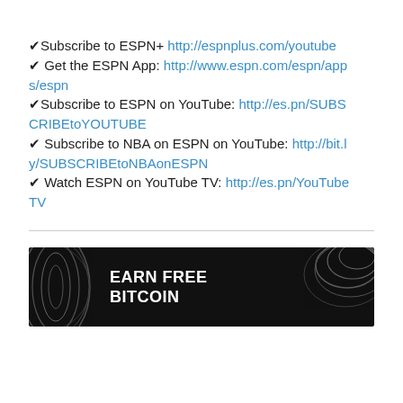✔Subscribe to ESPN+ http://espnplus.com/youtube
✔ Get the ESPN App: http://www.espn.com/espn/apps/espn
✔Subscribe to ESPN on YouTube: http://es.pn/SUBSCRIBEtoYOUTUBE
✔ Subscribe to NBA on ESPN on YouTube: http://bit.ly/SUBSCRIBEtoNBAonESPN
✔ Watch ESPN on YouTube TV: http://es.pn/YouTubeTV
[Figure (infographic): Black banner advertisement with dark swirl/pattern texture on left and right sides. Bold white uppercase text reads 'EARN FREE BITCOIN' on two lines.]